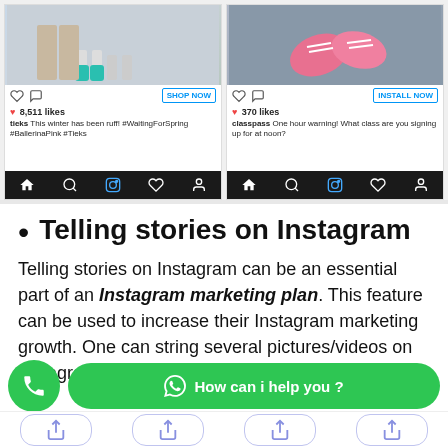[Figure (screenshot): Two Instagram ad posts side by side. Left post shows dog with teal boots, 8,511 likes, ticks brand caption '#WaitingForSpring #BallerinaPink #Tieks', SHOP NOW button. Right post shows pink sneakers, 370 likes, classpass caption 'One hour warning! What class are you signing up for at noon?', INSTALL NOW button. Both have Instagram navigation bars at bottom.]
Telling stories on Instagram
Telling stories on Instagram can be an essential part of an Instagram marketing plan. This feature can be used to increase their Instagram marketing growth. One can string several pictures/videos on Instagram stories together to tell a narrative.
[Figure (screenshot): Chat widgets: green phone button on left, green WhatsApp 'How can i help you?' button on right, and bottom navigation bar with share icons.]